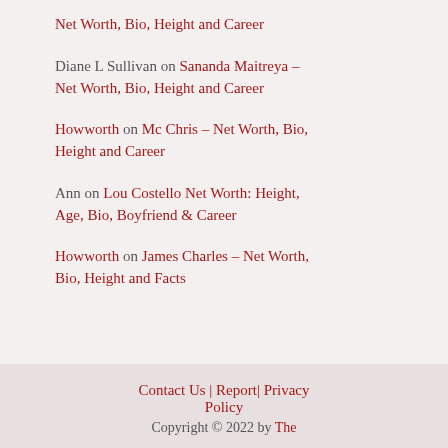Net Worth, Bio, Height and Career
Diane L Sullivan on Sananda Maitreya – Net Worth, Bio, Height and Career
Howworth on Mc Chris – Net Worth, Bio, Height and Career
Ann on Lou Costello Net Worth: Height, Age, Bio, Boyfriend & Career
Howworth on James Charles – Net Worth, Bio, Height and Facts
Contact Us | Report| Privacy Policy
Copyright © 2022 by The